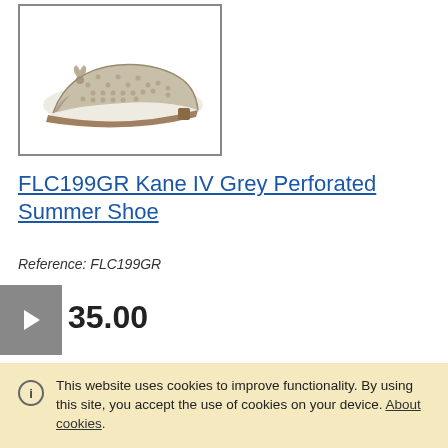[Figure (photo): Grey perforated summer shoe (flat pump with bow detail) shown in profile on white background, inside a bordered image box]
FLC199GR Kane IV Grey Perforated Summer Shoe
Reference: FLC199GR
35.00
Category: Lunar
FLC199GR Kane IV Grey Perforated Summer Shoe Materials: Upper Made From Faux Leather Lining: Faux Leather Lined Heel And Sole: Synthetic Fastenings: Slip On Pump Main Features: A Padded Insole With Perforated
This website uses cookies to improve functionality. By using this site, you accept the use of cookies on your device. About cookies.